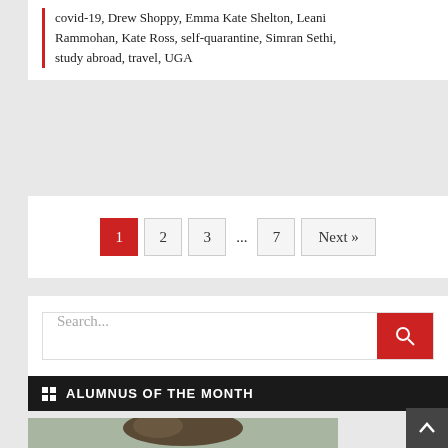covid-19, Drew Shoppy, Emma Kate Shelton, Leani Rammohan, Kate Ross, self-quarantine, Simran Sethi, study abroad, travel, UGA
1  2  3  ...  7  Next »
Search...
ALUMNUS OF THE MONTH
[Figure (photo): Portrait photo of a person with short wavy hair against a light greenish-gray background, cropped at shoulders]